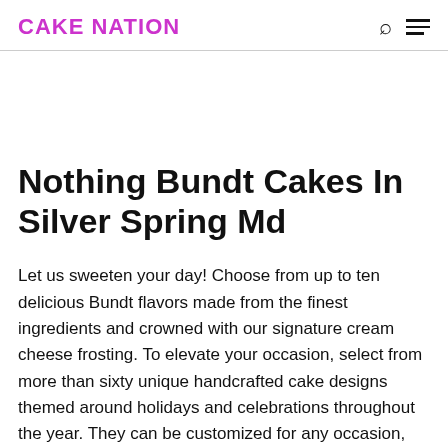CAKE NATION
Nothing Bundt Cakes In Silver Spring Md
Let us sweeten your day! Choose from up to ten delicious Bundt flavors made from the finest ingredients and crowned with our signature cream cheese frosting. To elevate your occasion, select from more than sixty unique handcrafted cake designs themed around holidays and celebrations throughout the year. They can be customized for any occasion, including